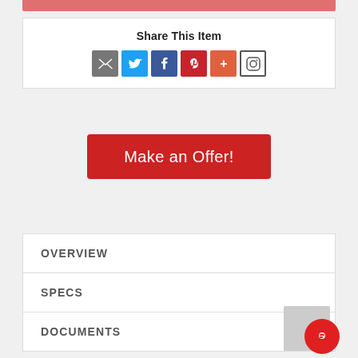[Figure (screenshot): Top red decorative bar at top of page]
Share This Item
[Figure (infographic): Social sharing icons: email (grey), Twitter (blue), Facebook (dark blue), Pinterest (red), Plus/AddThis (orange-red), Instagram (outlined)]
[Figure (screenshot): Make an Offer! red button]
OVERVIEW
SPECS
DOCUMENTS